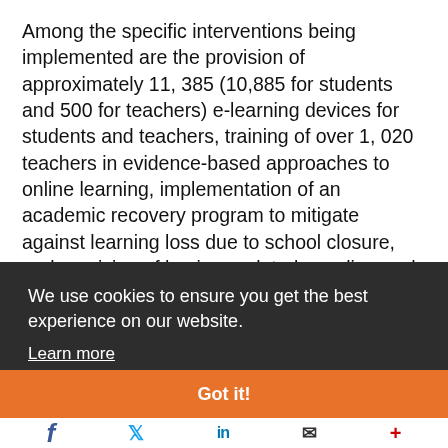Among the specific interventions being implemented are the provision of approximately 11, 385 (10,885 for students and 500 for teachers) e-learning devices for students and teachers, training of over 1, 020 teachers in evidence-based approaches to online learning, implementation of an academic recovery program to mitigate against learning loss due to school closure, and provision of hygiene related supplies such as masks, hand sanitizer and water tanks to 5,42[...] Gre[...] and[...] The[...] gov[...] the[...]
We use cookies to ensure you get the best experience on our website.
Learn more
Got it!